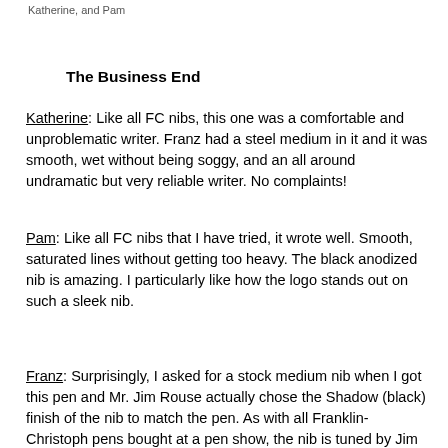Katherine, and Pam
The Business End
Katherine: Like all FC nibs, this one was a comfortable and unproblematic writer. Franz had a steel medium in it and it was smooth, wet without being soggy, and an all around undramatic but very reliable writer. No complaints!
Pam:  Like all FC nibs that I have tried, it wrote well.  Smooth, saturated lines without getting too heavy.  The black anodized nib is amazing.   I particularly like how the logo stands out on such a sleek nib.
Franz: Surprisingly, I asked for a stock medium nib when I got this pen and Mr. Jim Rouse actually chose the Shadow (black) finish of the nib to match the pen. As with all Franklin-Christoph pens bought at a pen show, the nib is tuned by Jim to your writing preferences. So this medium nib is one of the smoothest, and